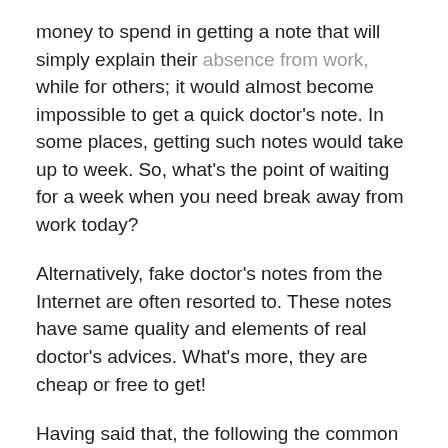money to spend in getting a note that will simply explain their absence from work, while for others; it would almost become impossible to get a quick doctor's note. In some places, getting such notes would take up to week. So, what's the point of waiting for a week when you need break away from work today?
Alternatively, fake doctor's notes from the Internet are often resorted to. These notes have same quality and elements of real doctor's advices. What's more, they are cheap or free to get!
Having said that, the following the common uses when you want to print a doctors excuse:
Day off from academic activities – There could be a time when a student needs a day offer from